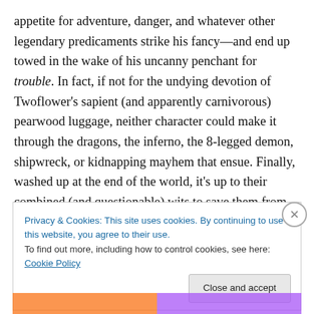appetite for adventure, danger, and whatever other legendary predicaments strike his fancy—and end up towed in the wake of his uncanny penchant for trouble. In fact, if not for the undying devotion of Twoflower's sapient (and apparently carnivorous) pearwood luggage, neither character could make it through the dragons, the inferno, the 8-legged demon, shipwreck, or kidnapping mayhem that ensue. Finally, washed up at the end of the world, it's up to their combined (and questionable) wits to save them from virtual annihilation…
Privacy & Cookies: This site uses cookies. By continuing to use this website, you agree to their use.
To find out more, including how to control cookies, see here: Cookie Policy